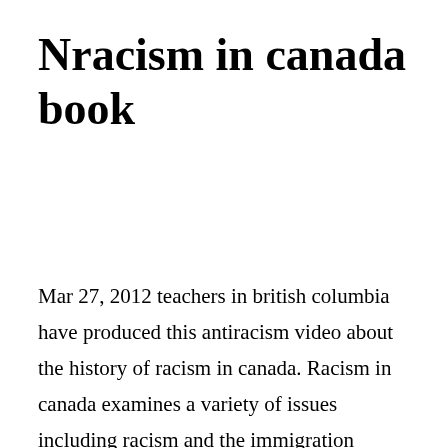Nracism in canada book
Mar 27, 2012 teachers in british columbia have produced this antiracism video about the history of racism in canada. Racism in canada examines a variety of issues including racism and the immigration system, racial profiling, racism and first nations, islamophobia, and antisemitism. A new book is looking to set the